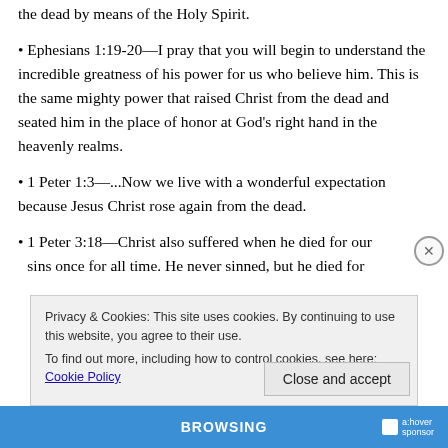the dead by means of the Holy Spirit.
• Ephesians 1:19-20—I pray that you will begin to understand the incredible greatness of his power for us who believe him. This is the same mighty power that raised Christ from the dead and seated him in the place of honor at God's right hand in the heavenly realms.
• 1 Peter 1:3—...Now we live with a wonderful expectation because Jesus Christ rose again from the dead.
• 1 Peter 3:18—Christ also suffered when he died for our sins once for all time. He never sinned, but he died for…
Privacy & Cookies: This site uses cookies. By continuing to use this website, you agree to their use.
To find out more, including how to control cookies, see here: Cookie Policy
Close and accept